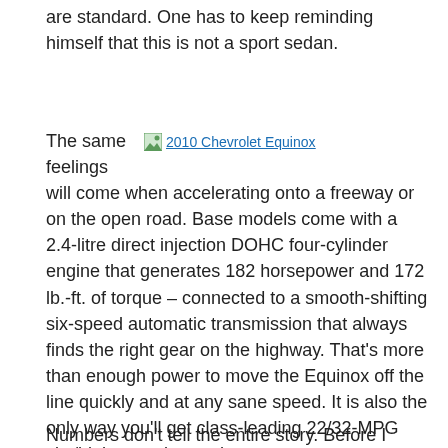are standard. One has to keep reminding himself that this is not a sport sedan.
[Figure (photo): 2010 Chevrolet Equinox - broken/missing image placeholder with link text]
The same feelings will come when accelerating onto a freeway or on the open road. Base models come with a 2.4-litre direct injection DOHC four-cylinder engine that generates 182 horsepower and 172 lb.-ft. of torque – connected to a smooth-shifting six-speed automatic transmission that always finds the right gear on the highway. That's more than enough power to move the Equinox off the line quickly and at any sane speed. It is also the only way you'll get class-leading 22/32-MPG city/highway – better than some compact cars. If your inner demon demands speed, or you have a boat to tow, step up to the 3.0-litre direct injection V6 and its 264 horsepower and 222 lb.-ft. of torque. Both engines are available with front- or all-wheel-drive.
Numbers don't tell the entire story. Before I could even get